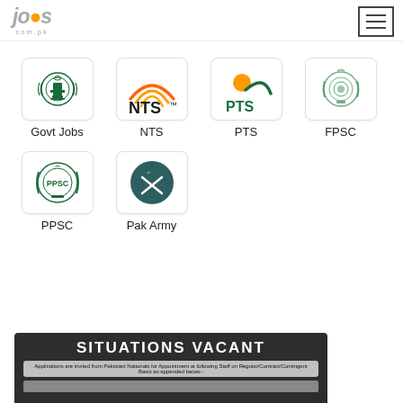jobs.com.pk
[Figure (logo): Govt Jobs logo - green government emblem]
Govt Jobs
[Figure (logo): NTS logo - orange arcs with NTS text]
NTS
[Figure (logo): PTS logo - orange sun with swoosh and PTS text]
PTS
[Figure (logo): FPSC logo - green government wreath emblem]
FPSC
[Figure (logo): PPSC logo - green circular emblem with PPSC text]
PPSC
[Figure (logo): Pak Army logo - dark teal circle with crescent and swords]
Pak Army
[Figure (screenshot): SITUATIONS VACANT notice - dark background with bold white title text and subtext about Pakistani Nationals appointment]